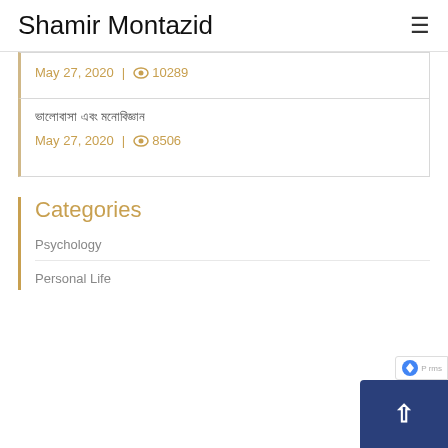Shamir Montazid
May 27, 2020 | 10289
ভালোবাসা এবং মনোবিজ্ঞান
May 27, 2020 | 8506
Categories
Psychology
Personal Life